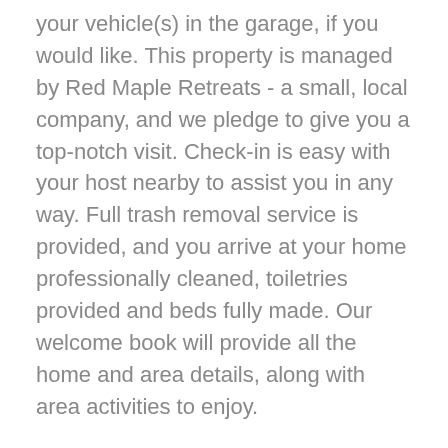your vehicle(s) in the garage, if you would like. This property is managed by Red Maple Retreats - a small, local company, and we pledge to give you a top-notch visit. Check-in is easy with your host nearby to assist you in any way. Full trash removal service is provided, and you arrive at your home professionally cleaned, toiletries provided and beds fully made. Our welcome book will provide all the home and area details, along with area activities to enjoy.
Guests are surrounded by endless options of things to do including hiking and sledding on Dundee Mountain, biking, running, snowmobiling on local trails, or boating and swimming on Conway Lake (only four minutes away). And of course, there are multiple options for skiing and riding with Mt. Cranmore, Shawnee Peak and King Pine just 19 minutes from the door. Attitash, Black, and Wildcat are only an additional